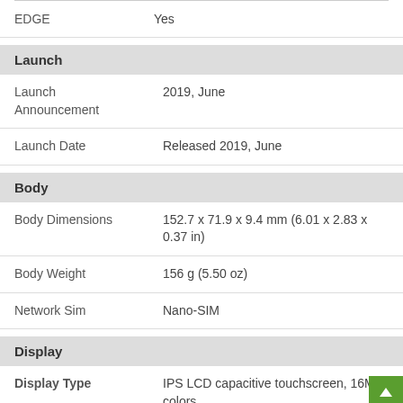EDGE: Yes
Launch
Launch Announcement: 2019, June
Launch Date: Released 2019, June
Body
Body Dimensions: 152.7 x 71.9 x 9.4 mm (6.01 x 2.83 x 0.37 in)
Body Weight: 156 g (5.50 oz)
Network Sim: Nano-SIM
Display
Display Type: IPS LCD capacitive touchscreen, 16M colors